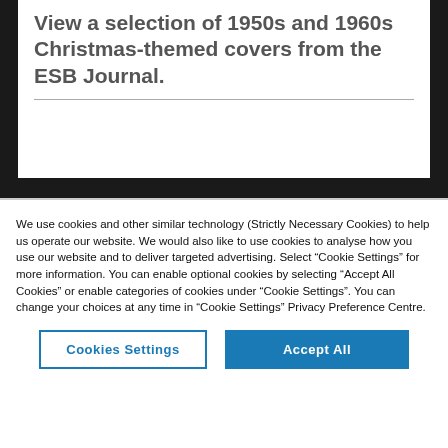View a selection of 1950s and 1960s Christmas-themed covers from the ESB Journal.
We use cookies and other similar technology (Strictly Necessary Cookies) to help us operate our website. We would also like to use cookies to analyse how you use our website and to deliver targeted advertising. Select “Cookie Settings” for more information. You can enable optional cookies by selecting “Accept All Cookies” or enable categories of cookies under “Cookie Settings”. You can change your choices at any time in “Cookie Settings” Privacy Preference Centre.
Cookies Settings
Accept All